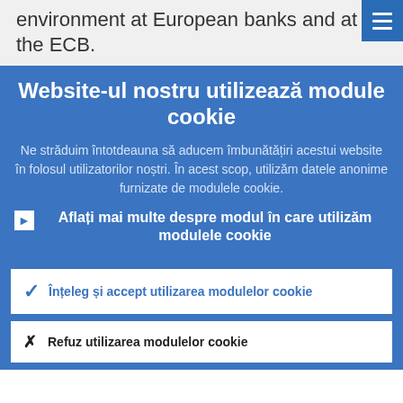environment at European banks and at the ECB.
Website-ul nostru utilizează module cookie
Ne străduim întotdeauna să aducem îmbunătățiri acestui website în folosul utilizatorilor noștri. În acest scop, utilizăm datele anonime furnizate de modulele cookie.
Aflați mai multe despre modul în care utilizăm modulele cookie
Înțeleg și accept utilizarea modulelor cookie
Refuz utilizarea modulelor cookie